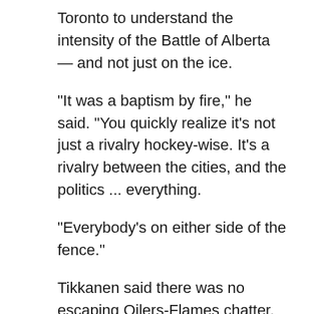Toronto to understand the intensity of the Battle of Alberta — and not just on the ice.
"It was a baptism by fire," he said. "You quickly realize it's not just a rivalry hockey-wise. It's a rivalry between the cities, and the politics ... everything.
"Everybody's on either side of the fence."
Tikkanen said there was no escaping Oilers-Flames chatter.
"They talked about it every minute," he said of fans and media. "Everyone was watching."
Muni heard stories about bars in Red Deer — a city about halfway between Edmonton and Calgary along Highway 2 — taping lines on